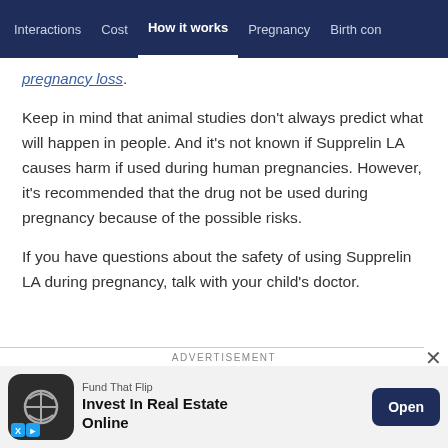Interactions  Cost  How it works  Pregnancy  Birth con
pregnancy loss.
Keep in mind that animal studies don't always predict what will happen in people. And it's not known if Supprelin LA causes harm if used during human pregnancies. However, it's recommended that the drug not be used during pregnancy because of the possible risks.
If you have questions about the safety of using Supprelin LA during pregnancy, talk with your child's doctor.
[Figure (screenshot): Advertisement banner for 'Fund That Flip' with text 'Invest In Real Estate Online' and an 'Open' button]